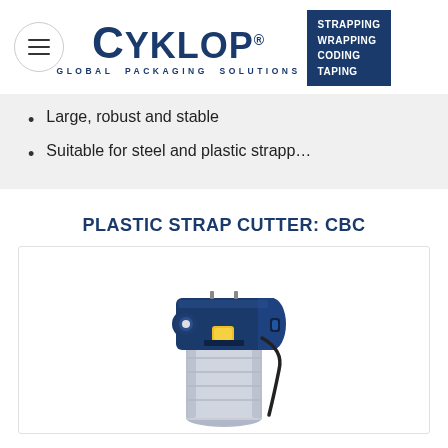CYKLOP — GLOBAL PACKAGING SOLUTIONS | STRAPPING WRAPPING CODING TAPING
Large, robust and stable
Suitable for steel and plastic strapp…
PLASTIC STRAP CUTTER: CBC
[Figure (photo): Photo of Cyklop CBC plastic strap cutter — a cylindrical device with a blue mechanical head unit mounted on a silver/grey cylinder body, with a cable and yellow component visible.]